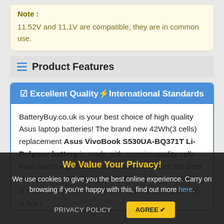Note : 11.52V and 11.1V are compatible, they are in common use.
Product Features
☑ Excellent Quality⚡International Standards
BatteryBuy.co.uk is your best choice of high quality Asus laptop batteries! The brand new 42Wh(3 cells) replacement Asus VivoBook S530UA-BQ371T Li-Polymer battery is made with superior quality cells from Samsung, Panasonic and LG to ensure the best performance. The high quality ABS plastic hard case is made of non-flammable and durable plastic, which is fire resistant and provides safety when
We Value Your Privacy!
We use cookies to give you the best online experience. Carry on browsing if you're happy with this, find out more here.
PRIVACY POLICY   AGREE ✔